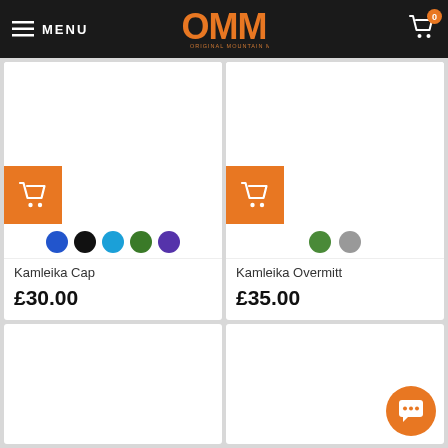[Figure (screenshot): OMM Original Mountain Marathon website header with menu icon, logo, and cart icon showing 0 items]
[Figure (screenshot): Product card for Kamleika Cap showing orange add-to-cart button, 5 color swatches (blue, black, cyan, green, purple), product name and price £30.00]
[Figure (screenshot): Product card for Kamleika Overmitt showing orange add-to-cart button, 2 color swatches (green, gray), product name and price £35.00]
[Figure (screenshot): Partial product card at bottom left, image only visible]
[Figure (screenshot): Partial product card at bottom right, image only visible with orange chat button overlay]